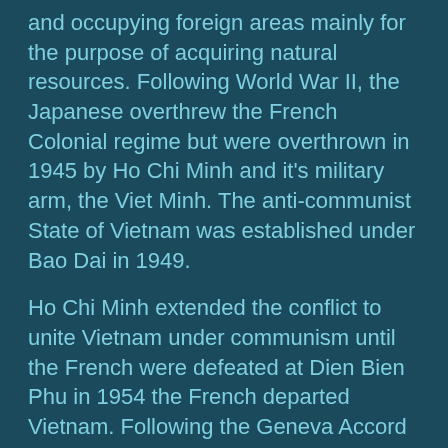and occupying foreign areas mainly for the purpose of acquiring natural resources. Following World War II, the Japanese overthrew the French Colonial regime but were overthrown in 1945 by Ho Chi Minh and it's military arm, the Viet Minh. The anti-communist State of Vietnam was established under Bao Dai in 1949.
Ho Chi Minh extended the conflict to unite Vietnam under communism until the French were defeated at Dien Bien Phu in 1954 the French departed Vietnam. Following the Geneva Accord of 27 April 1954, agreements were made granting Vietnam independence from France. On July 20, 1954, the countries attending the Geneva Conference agreed that there should be a cease fire and a partition line at the 17th parallel should be established to separate the powers and that free elections should be held to establish reunification in July of 1956. This accord was signed only by the French and the (Northern) Viet Minh, who were assured of winning any such election because of their national popularity. However, the United States